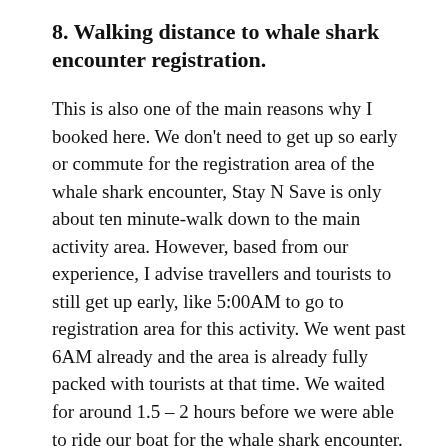8. Walking distance to whale shark encounter registration.
This is also one of the main reasons why I booked here. We don't need to get up so early or commute for the registration area of the whale shark encounter, Stay N Save is only about ten minute-walk down to the main activity area. However, based from our experience, I advise travellers and tourists to still get up early, like 5:00AM to go to registration area for this activity. We went past 6AM already and the area is already fully packed with tourists at that time. We waited for around 1.5 – 2 hours before we were able to ride our boat for the whale shark encounter.